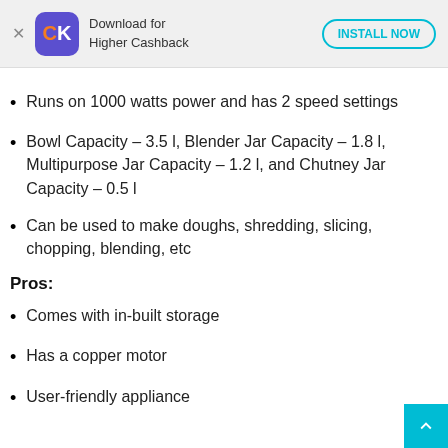Download for Higher Cashback  INSTALL NOW
Runs on 1000 watts power and has 2 speed settings
Bowl Capacity – 3.5 l, Blender Jar Capacity – 1.8 l, Multipurpose Jar Capacity – 1.2 l, and Chutney Jar Capacity – 0.5 l
Can be used to make doughs, shredding, slicing, chopping, blending, etc
Pros:
Comes with in-built storage
Has a copper motor
User-friendly appliance